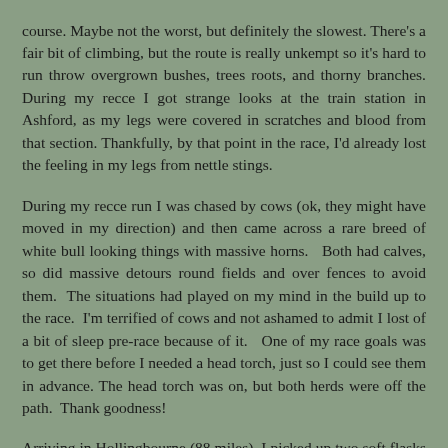course. Maybe not the worst, but definitely the slowest. There's a fair bit of climbing, but the route is really unkempt so it's hard to run throw overgrown bushes, trees roots, and thorny branches. During my recce I got strange looks at the train station in Ashford, as my legs were covered in scratches and blood from that section. Thankfully, by that point in the race, I'd already lost the feeling in my legs from nettle stings.
During my recce run I was chased by cows (ok, they might have moved in my direction) and then came across a rare breed of white bull looking things with massive horns.  Both had calves, so did massive detours round fields and over fences to avoid them. The situations had played on my mind in the build up to the race. I'm terrified of cows and not ashamed to admit I lost of a bit of sleep pre-race because of it.  One of my race goals was to get there before I needed a head torch, just so I could see them in advance. The head torch was on, but both herds were off the path. Thank goodness!
Arriving in Hollingbourne (88 miles), I picked up two soft flasks of coke. I was saving coke for my hang-on-in-there last sections fuelling strategy. Once I start on coke it is hard to stomach anything else.